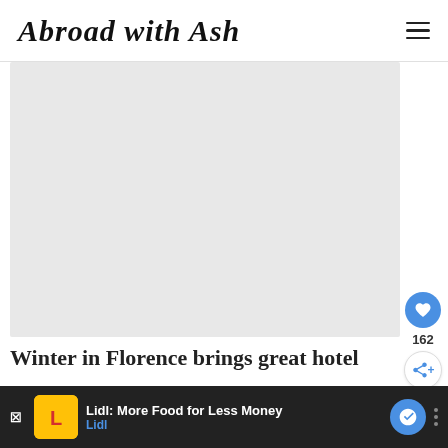Abroad with Ash
[Figure (photo): Large hero image placeholder (light grey rectangle) for a travel blog post about Florence]
162
Winter in Florence brings great hotel
Lidl: More Food for Less Money — Lidl (advertisement)